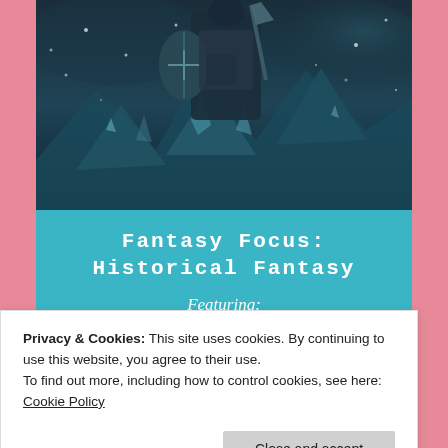[Figure (illustration): Dark fantasy book cover image showing a medieval warrior/knight figure with armor, shield and weapons against a stormy, icy mountain background with snowflakes]
Fantasy Focus: Historical Fantasy
Featuring: G.M. White, Angela Boord, J.T.T Ryder, Marian L. Thorpe, Eloise
Privacy & Cookies: This site uses cookies. By continuing to use this website, you agree to their use.
To find out more, including how to control cookies, see here: Cookie Policy
fantasy subgenre. Fantasy is such a broad genre with